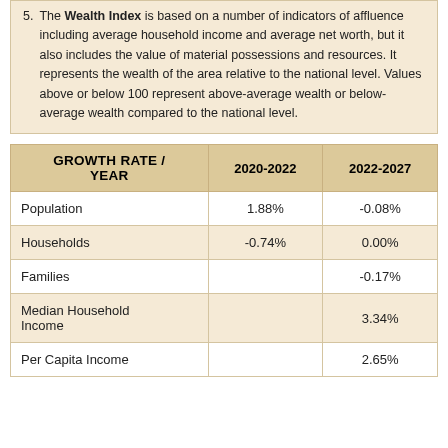5. The Wealth Index is based on a number of indicators of affluence including average household income and average net worth, but it also includes the value of material possessions and resources. It represents the wealth of the area relative to the national level. Values above or below 100 represent above-average wealth or below-average wealth compared to the national level.
| GROWTH RATE / YEAR | 2020-2022 | 2022-2027 |
| --- | --- | --- |
| Population | 1.88% | -0.08% |
| Households | -0.74% | 0.00% |
| Families |  | -0.17% |
| Median Household Income |  | 3.34% |
| Per Capita Income |  | 2.65% |